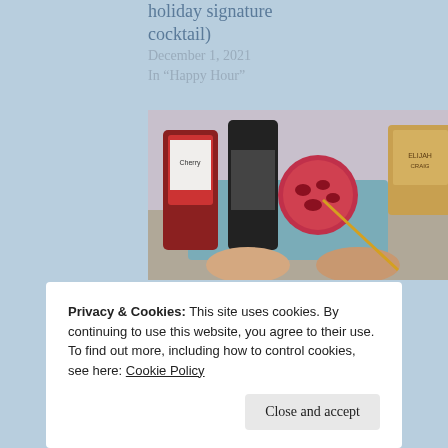holiday signature cocktail)
December 1, 2021
In “Happy Hour”
April 18, 2021
In “Happy Hour”
[Figure (photo): Photo of Pom-Pom-Hattan cocktail ingredients including pomegranate, bottles, and cocktail glasses]
Pom-Pom-Hattan (Thanksgiving Cocktail)
November 25, 2020
In “Happy Hour”
Privacy & Cookies: This site uses cookies. By continuing to use this website, you agree to their use.
To find out more, including how to control cookies, see here: Cookie Policy
Close and accept